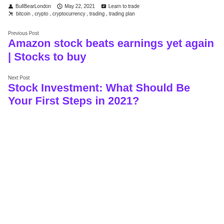BullBearLondon  May 22, 2021  Learn to trade
bitcoin, crypto, cryptocurrency, trading, trading plan
Previous Post
Amazon stock beats earnings yet again | Stocks to buy
Next Post
Stock Investment: What Should Be Your First Steps in 2021?